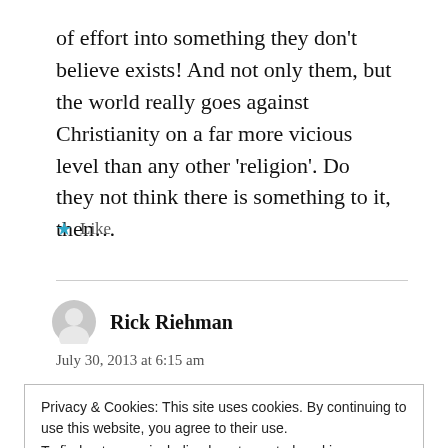of effort into something they don't believe exists! And not only them, but the world really goes against Christianity on a far more vicious level than any other 'religion'. Do they not think there is something to it, then…
★ Like
Rick Riehman
July 30, 2013 at 6:15 am
Privacy & Cookies: This site uses cookies. By continuing to use this website, you agree to their use.
To find out more, including how to control cookies, see here:
Cookie Policy
Close and accept
definitely a defining scripture and a